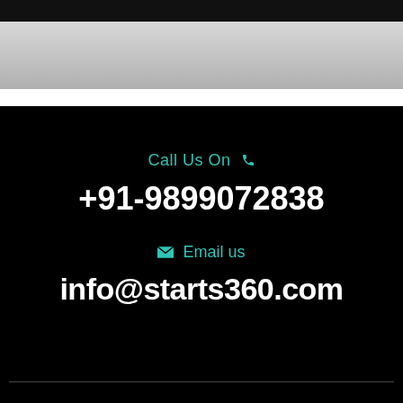[Figure (other): Top section with dark bar and gray gradient background area]
Call Us On 📞
+91-9899072838
✉ Email us
info@starts360.com